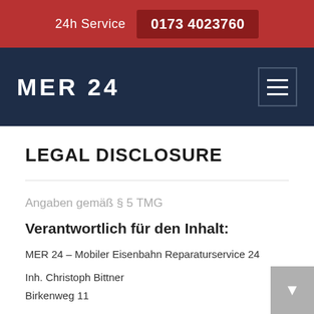24h Service  0173 4023760
[Figure (logo): MER 24 logo on dark navy background with hamburger menu icon]
LEGAL DISCLOSURE
Angaben gemäß § 5 TMG
Verantwortlich für den Inhalt:
MER 24 – Mobiler Eisenbahn Reparaturservice 24
Inh. Christoph Bittner
Birkenweg 11